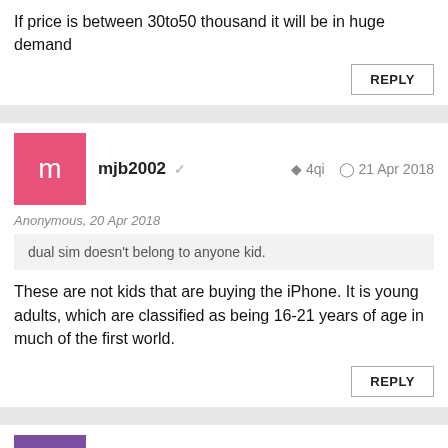If price is between 30to50 thousand it will be in huge demand
REPLY
mjb2002  4qi  21 Apr 2018
Anonymous, 20 Apr 2018
dual sim doesn't belong to anyone kid.
These are not kids that are buying the iPhone. It is young adults, which are classified as being 16-21 years of age in much of the first world.
REPLY
True Tech Opinions  ryG  21 Apr 2018